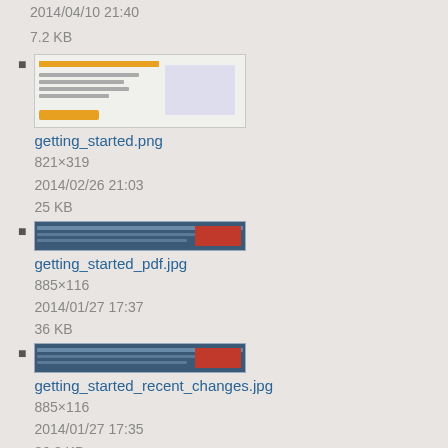2014/04/10 21:40
7.2 KB
getting_started.png
821×319
2014/02/26 21:03
25 KB
getting_started_pdf.jpg
885×116
2014/01/27 17:37
36 KB
getting_started_recent_changes.jpg
885×116
2014/01/27 17:35
36.2 KB
getting_started_search.jpg
976×144